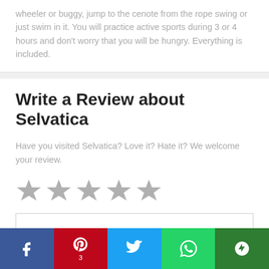wheeler or buggy, jump to the cenote from the rope swing or just swim in it. You will practice active sports during 3 or 4 hours and don't worry that you will be hungry. Everything is included.
Write a Review about Selvatica
Have you visited Selvatica? Love it? Hate it? We welcome your review.
[Figure (other): Five grey star rating icons in a row for user review input]
[Figure (screenshot): Empty text area input box for writing a review]
[Figure (infographic): Social sharing bar with Facebook, Pinterest (3), Twitter, WhatsApp, and More buttons]